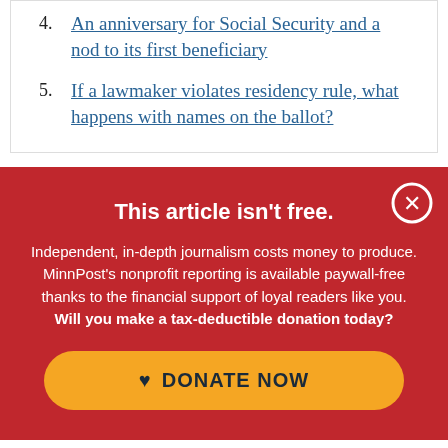4. An anniversary for Social Security and a nod to its first beneficiary
5. If a lawmaker violates residency rule, what happens with names on the ballot?
This article isn't free.
Independent, in-depth journalism costs money to produce. MinnPost's nonprofit reporting is available paywall-free thanks to the financial support of loyal readers like you. Will you make a tax-deductible donation today?
DONATE NOW